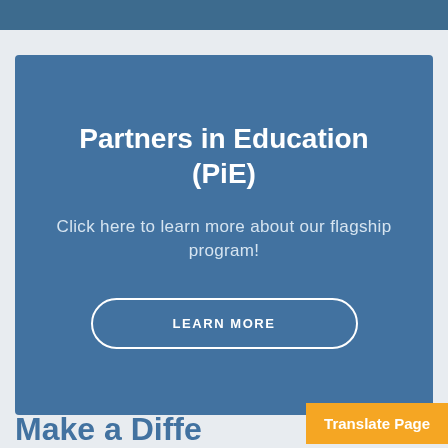Partners in Education (PiE)
Click here to learn more about our flagship program!
LEARN MORE
Make a Diffe…
Translate Page